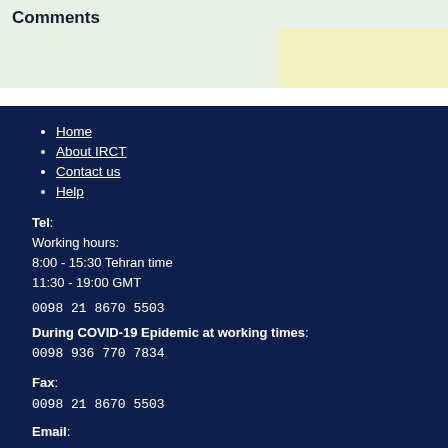| Comments |  |
| --- | --- |
|  |  |
Home
About IRCT
Contact us
Help
Tel:
Working hours:
8:00 - 15:30 Tehran time
11:30 - 19:00 GMT
0098 21 8670 5503
During COVID-19 Epidemic at working times:
0098 936 770 7834
Fax:
0098 21 8670 5503
Email: